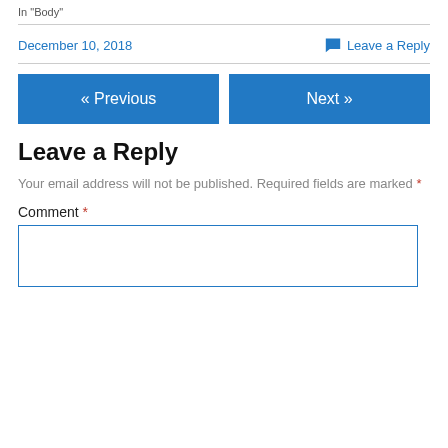In "Body"
December 10, 2018    Leave a Reply
« Previous    Next »
Leave a Reply
Your email address will not be published. Required fields are marked *
Comment *